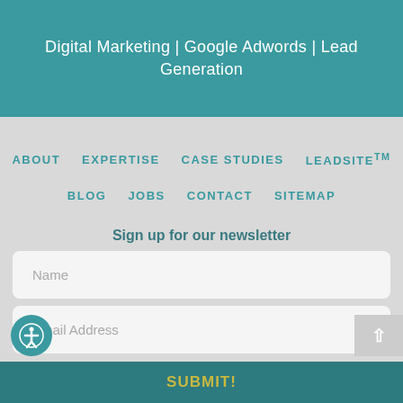Digital Marketing | Google Adwords | Lead Generation
ABOUT
EXPERTISE
CASE STUDIES
LEADSITETM
BLOG
JOBS
CONTACT
SITEMAP
Sign up for our newsletter
Name
Email Address
SUBMIT!